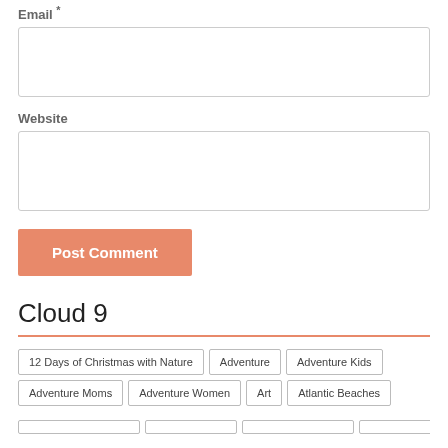Email *
Website
Post Comment
Cloud 9
12 Days of Christmas with Nature
Adventure
Adventure Kids
Adventure Moms
Adventure Women
Art
Atlantic Beaches